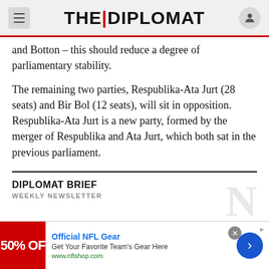THE DIPLOMAT
and Botton – this should reduce a degree of parliamentary stability.
The remaining two parties, Respublika-Ata Jurt (28 seats) and Bir Bol (12 seats), will sit in opposition. Respublika-Ata Jurt is a new party, formed by the merger of Respublika and Ata Jurt, which both sat in the previous parliament.
DIPLOMAT BRIEF
WEEKLY NEWSLETTER
Get briefed on the story of the week, and developing stories to watch across the Asia-Pacific
[Figure (other): Advertisement: Official NFL Gear - 50% OFF - Get Your Favorite Team's Gear Here - www.nflshop.com]